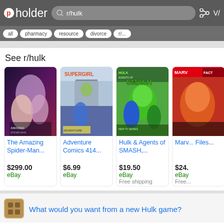pholder — search: r/hulk
See r/hulk
[Figure (screenshot): Comic book product card: The Amazing Spider-Man...]
The Amazing Spider-Man...
$299.00
eBay
[Figure (screenshot): Comic book product card: Adventure Comics 414...]
Adventure Comics 414...
$6.99
eBay
[Figure (screenshot): Comic book product card: Hulk & Agents of SMASH,...]
Hulk & Agents of SMASH,...
$19.50
eBay
Free shipping
[Figure (screenshot): Comic book product card: Marv... Files...]
Marv... Files...
$24.
eBay
Free...
What would you want from a new Hulk game?